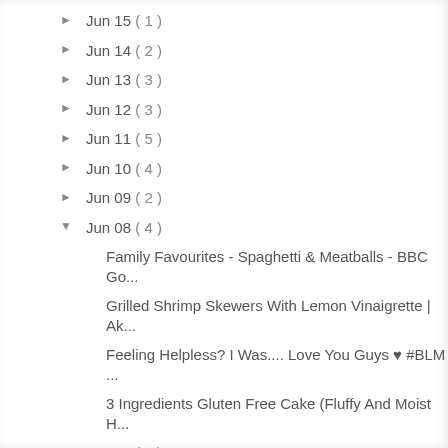► Jun 15 ( 1 )
► Jun 14 ( 2 )
► Jun 13 ( 3 )
► Jun 12 ( 3 )
► Jun 11 ( 5 )
► Jun 10 ( 4 )
► Jun 09 ( 2 )
▼ Jun 08 ( 4 )
Family Favourites - Spaghetti & Meatballs - BBC Go...
Grilled Shrimp Skewers With Lemon Vinaigrette | Ak...
Feeling Helpless? I Was.... Love You Guys ♥ #BLM ...
3 Ingredients Gluten Free Cake (Fluffy And Moist H...
► Jun 07 ( 1 )
► Jun 06 ( 3 )
► Jun 05 ( 5 )
► Jun 04 ( 5 )